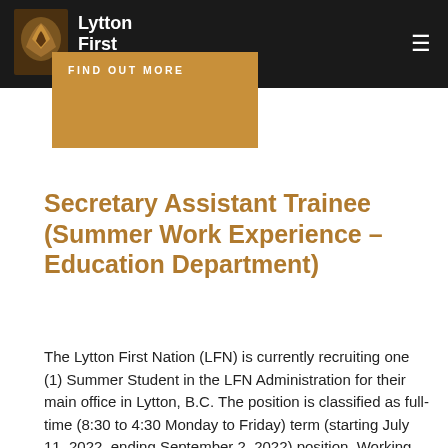Lytton First Nation
[Figure (logo): Lytton First Nation logo with eagle/bird imagery and white text on dark background]
Secretary Assistant Trainee (Summer Work Experience – Education Department)
The Lytton First Nation (LFN) is currently recruiting one (1) Summer Student in the LFN Administration for their main office in Lytton, B.C. The position is classified as full-time (8:30 to 4:30 Monday to Friday) term (starting July 11, 2022, ending September 2, 2022) position. Working no more than 280 hours, schedule to be determined by the Program Manager. Working no less than the